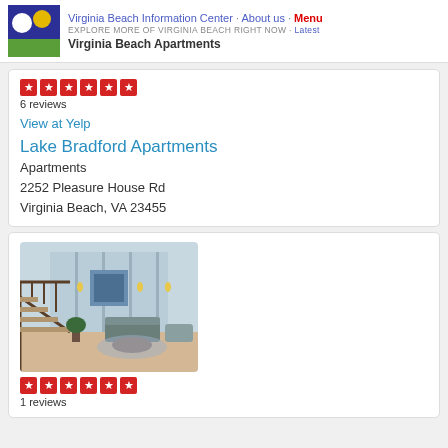Virginia Beach Information Center · About us · Menu | EXPLORE MORE OF VIRGINIA BEACH RIGHT NOW · Latest | Virginia Beach Apartments
6 reviews
View at Yelp
Lake Bradford Apartments
Apartments
2252 Pleasure House Rd
Virginia Beach, VA 23455
[Figure (photo): Interior lobby/common area of an apartment complex showing a two-story space with staircase, modern furniture, wall art, and warm lighting]
1 reviews